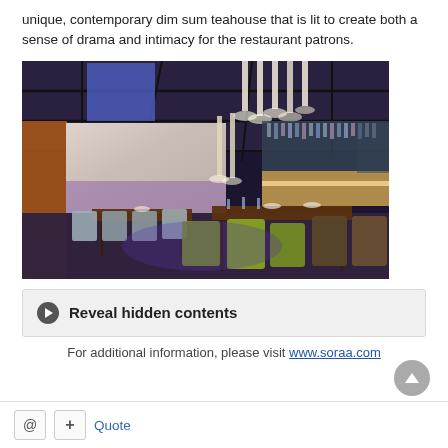unique, contemporary dim sum teahouse that is lit to create both a sense of drama and intimacy for the restaurant patrons.
[Figure (photo): Interior of a contemporary dim sum teahouse restaurant with dramatic lighting, pendant lights, marble walls, bar area in background, and dining tables with green and brown chairs in foreground.]
Reveal hidden contents
For additional information, please visit www.soraa.com
Quote